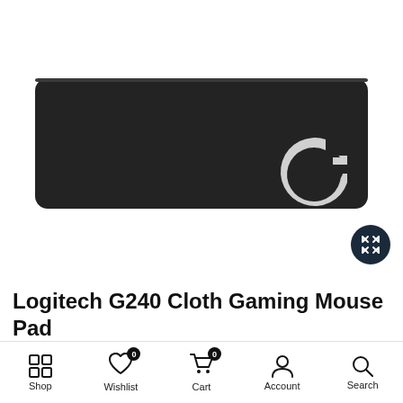[Figure (photo): Logitech G240 Cloth Gaming Mouse Pad product photo on white background. Black rectangular mouse pad with Logitech G logo in white at lower right corner.]
Logitech G240 Cloth Gaming Mouse Pad
Rp 1,025,00
[Figure (screenshot): Mobile app bottom navigation bar with icons for Shop, Wishlist (badge 0), Cart (badge 0), Account, and Search.]